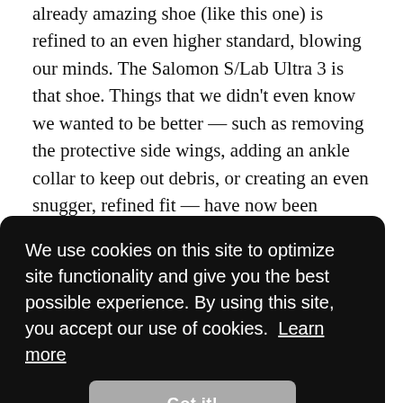already amazing shoe (like this one) is refined to an even higher standard, blowing our minds. The Salomon S/Lab Ultra 3 is that shoe. Things that we didn't even know we wanted to be better — such as removing the protective side wings, adding an ankle collar to keep out debris, or creating an even snugger, refined fit — have now been improved. The versatile and sticky rubber traction, lightweight, and bomber PU foam underfoot remain. This is our favorite trail running shoe and one we delight in using for big days linking peaks,
[Figure (screenshot): Cookie consent overlay on dark background reading: 'We use cookies on this site to optimize site functionality and give you the best possible experience. By using this site, you accept our use of cookies. Learn more' with a 'Got it!' button.]
is ... e shoe, ... omon ... design integrated with the debris collar, we find it takes some extra